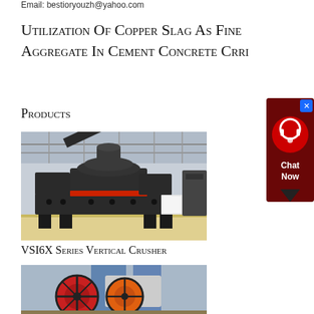Email: bestioryouzh@yahoo.com
Utilization Of Copper Slag As Fine Aggregate In Cement Concrete Crri
Products
[Figure (photo): Industrial VSI6X Series Vertical Crusher machine photographed in a large factory/warehouse setting. The machine is dark grey/black with orange/red accent ring, mounted on a heavy steel frame with multiple legs.]
VSI6X Series Vertical Crusher
[Figure (photo): Industrial machinery with large red and orange flywheels/wheels visible, photographed in a factory setting with blue banners.]
[Figure (other): Chat Now customer support widget showing a chat icon and 'Chat Now' text on dark red/black background with X close button.]